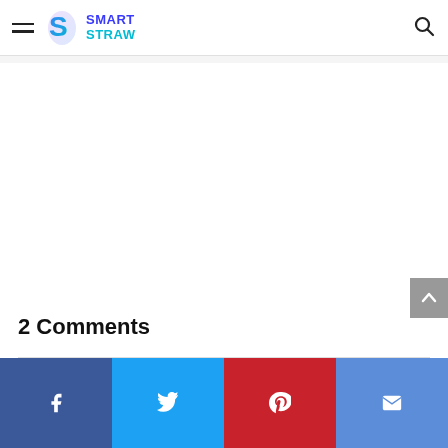Smart Straw — navigation header with hamburger menu, logo, and search icon
2 Comments
Share bar: Facebook, Twitter, Pinterest, Email